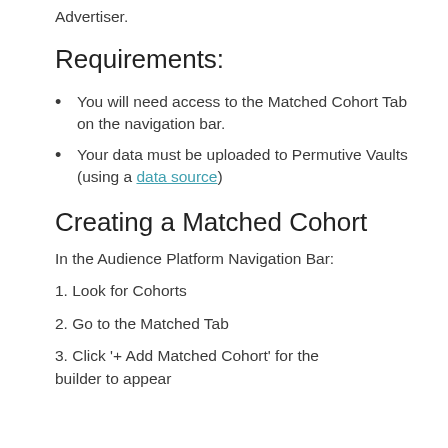Advertiser.
Requirements:
You will need access to the Matched Cohort Tab on the navigation bar.
Your data must be uploaded to Permutive Vaults (using a data source)
Creating a Matched Cohort
In the Audience Platform Navigation Bar:
1. Look for Cohorts
2. Go to the Matched Tab
3. Click '+ Add Matched Cohort' for the builder to appear